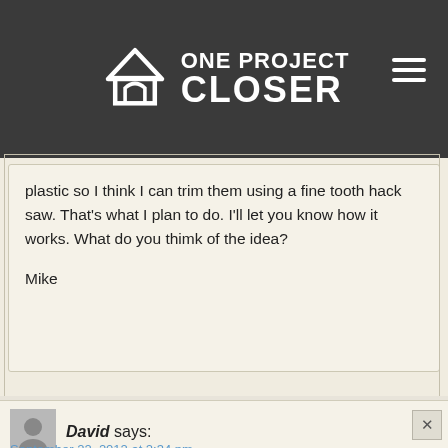ONE PROJECT CLOSER
plastic so I think I can trim them using a fine tooth hack saw. That’s what I plan to do. I’ll let you know how it works. What do you thimk of the idea?

Mike
David says:
September 22, 2012 at 2:34 pm
I have installed 3 safety bars and ceiling fans and have